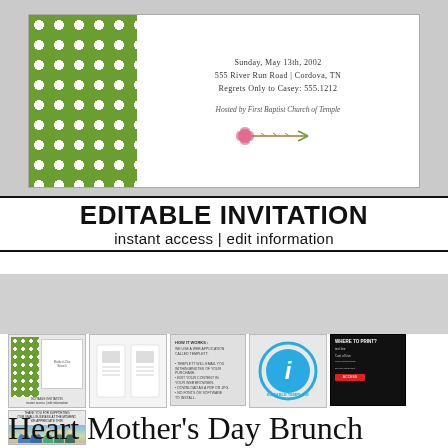[Figure (illustration): Preview of a Mother's Day Brunch invitation with green polka dot pattern on left and event details text on right, including date Sunday May 13th 2002, location 555 River Run Road Cordova TN, Regrets Only to Casey 555.1212, Hosted by First Baptist Church of Temple, with a decorative flower arrow at the bottom.]
EDITABLE INVITATION
instant access | edit information
[Figure (illustration): Row of five product thumbnail images: (1) invitation preview with editable invitation label, (2) instruction sheets, (3) How It Works info card, (4) circular blue logo with letter i for editable template, (5) dark themed where to print card.]
[Figure (photo): Thumbnail of a family photo at the beach with text above about buying and supporting the seller.]
Heart Mother's Day Brunch